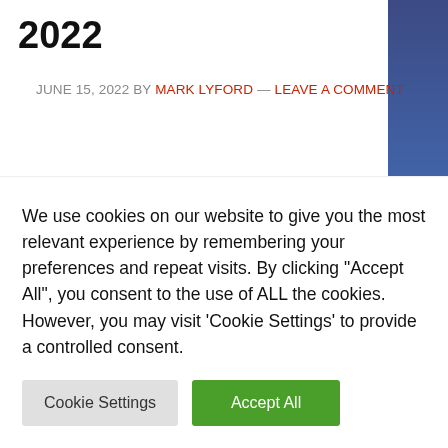2022
JUNE 15, 2022 BY MARK LYFORD — LEAVE A COMMENT
The post 🔴 eBay and Airbnb to Accept Crypto??? | This Week in Crypto – Mar 7, 2022 appeared first on 99 Bitcoins.
eBay and Airbnb consider crypto payments, the EU postpones cryptocurrency regulation and Ukraine issues …
We use cookies on our website to give you the most relevant experience by remembering your preferences and repeat visits. By clicking "Accept All", you consent to the use of ALL the cookies. However, you may visit 'Cookie Settings' to provide a controlled consent.